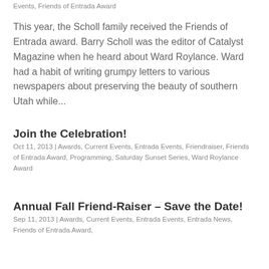Events, Friends of Entrada Award
This year, the Scholl family received the Friends of Entrada award. Barry Scholl was the editor of Catalyst Magazine when he heard about Ward Roylance. Ward had a habit of writing grumpy letters to various newspapers about preserving the beauty of southern Utah while...
Join the Celebration!
Oct 11, 2013 | Awards, Current Events, Entrada Events, Friendraiser, Friends of Entrada Award, Programming, Saturday Sunset Series, Ward Roylance Award
Annual Fall Friend-Raiser – Save the Date!
Sep 11, 2013 | Awards, Current Events, Entrada Events, Entrada News, Friends of Entrada Award,